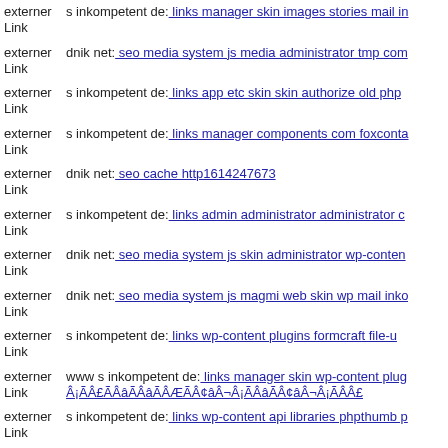externer Link s inkompetent de: links manager skin images stories mail in
externer Link dnik net: seo media system js media administrator tmp com
externer Link s inkompetent de: links app etc skin skin authorize old php
externer Link s inkompetent de: links manager components com foxconta
externer Link dnik net: seo cache http1614247673
externer Link s inkompetent de: links admin administrator administrator c
externer Link dnik net: seo media system js skin administrator wp-conten
externer Link dnik net: seo media system js magmi web skin wp mail inko
externer Link s inkompetent de: links wp-content plugins formcraft file-u
externer Link www s inkompetent de: links manager skin wp-content plug Â¡ÃÂ£ÃÂâÃÂâÃÂÆÃÂ¢âÂ¬Â¡ÃÂâÃÂ¢âÂ¬Â¡ÃÂÂ£
externer Link s inkompetent de: links wp-content api libraries phpthumb p